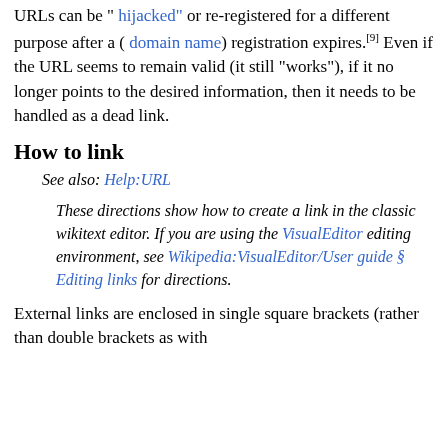URLs can be " hijacked" or re-registered for a different purpose after a ( domain name) registration expires.[9] Even if the URL seems to remain valid (it still "works"), if it no longer points to the desired information, then it needs to be handled as a dead link.
How to link
See also: Help:URL
These directions show how to create a link in the classic wikitext editor. If you are using the VisualEditor editing environment, see Wikipedia:VisualEditor/User guide § Editing links for directions.
External links are enclosed in single square brackets (rather than double brackets as with